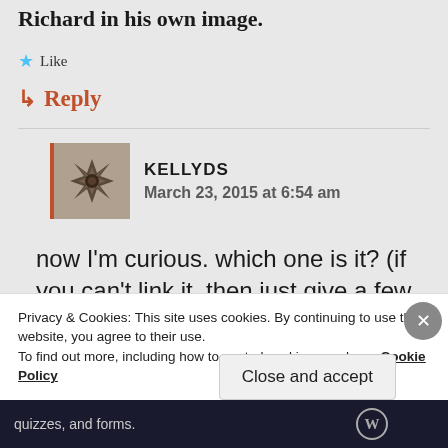Richard in his own image.
★ Like
↳ Reply
KELLYDS
March 23, 2015 at 6:54 am
now I'm curious. which one is it? (if you can't link it, then just give a few
Privacy & Cookies: This site uses cookies. By continuing to use this website, you agree to their use.
To find out more, including how to control cookies, see here: Cookie Policy
Close and accept
quizzes, and forms.